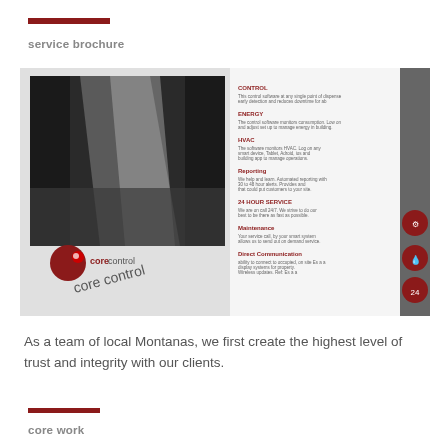service brochure
[Figure (photo): A photograph of an open service brochure for 'core control', showing a black-and-white industrial image on the left page and a list of services with red headers and icon circles on the right page. The brochure includes the core control logo.]
As a team of local Montanas, we first create the highest level of trust and integrity with our clients.
core work